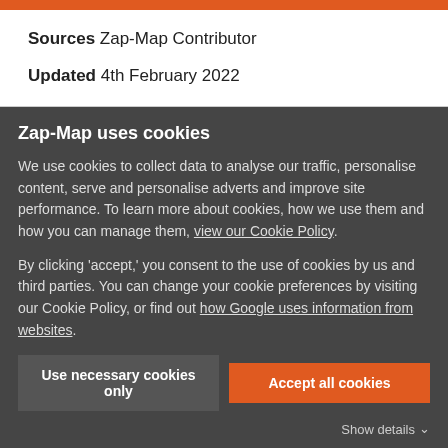Sources Zap-Map Contributor
Updated 4th February 2022
Zap-Map uses cookies
We use cookies to collect data to analyse our traffic, personalise content, serve and personalise adverts and improve site performance. To learn more about cookies, how we use them and how you can manage them, view our Cookie Policy.
By clicking 'accept,' you consent to the use of cookies by us and third parties. You can change your cookie preferences by visiting our Cookie Policy, or find out how Google uses information from websites.
Use necessary cookies only | Accept all cookies
Show details